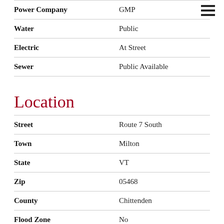| Field | Value |
| --- | --- |
| Power Company | GMP |
| Water | Public |
| Electric | At Street |
| Sewer | Public Available |
Location
| Field | Value |
| --- | --- |
| Street | Route 7 South |
| Town | Milton |
| State | VT |
| Zip | 05468 |
| County | Chittenden |
| Flood Zone | No |